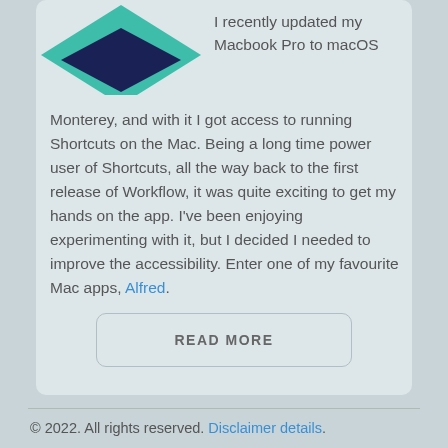[Figure (logo): Diamond/rhombus shaped logo with teal outer shape and dark navy inner shape, partially visible at top-left of card]
I recently updated my Macbook Pro to macOS Monterey, and with it I got access to running Shortcuts on the Mac. Being a long time power user of Shortcuts, all the way back to the first release of Workflow, it was quite exciting to get my hands on the app. I've been enjoying experimenting with it, but I decided I needed to improve the accessibility. Enter one of my favourite Mac apps, Alfred.
READ MORE
© 2022. All rights reserved. Disclaimer details.